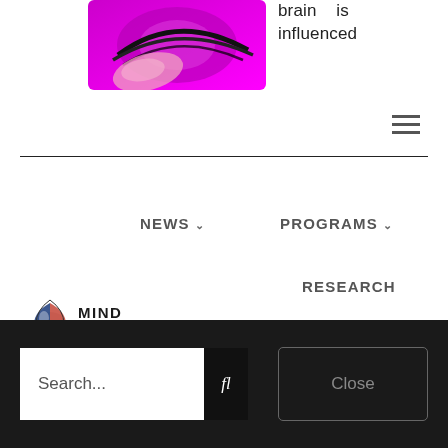[Figure (photo): Purple/magenta abstract brain or flower image in top left corner]
brain is influenced
[Figure (other): Hamburger menu icon (three horizontal lines)]
[Figure (logo): MIND Foundation logo with stylized droplet icon and text MIND FOUNDATION]
NEWS ∨
PROGRAMS ∨
RESEARCH
GET INVOLVED ∨
EN/
DE
Search...
fl
Close